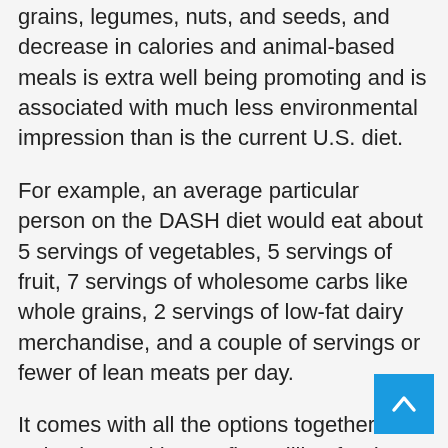grains, legumes, nuts, and seeds, and decrease in calories and animal-based meals is extra well being promoting and is associated with much less environmental impression than is the current U.S. diet.
For example, an average particular person on the DASH diet would eat about 5 servings of vegetables, 5 servings of fruit, 7 servings of wholesome carbs like whole grains, 2 servings of low-fat dairy merchandise, and a couple of servings or fewer of lean meats per day.
It comes with all the options together with a database with over five million foods, full sync with their web site service so you'll be able to count energy cross-platform, a recipe calculator so you can see how much nutrition a home cooked meal will have, and the ability so as to add a number of items directly.